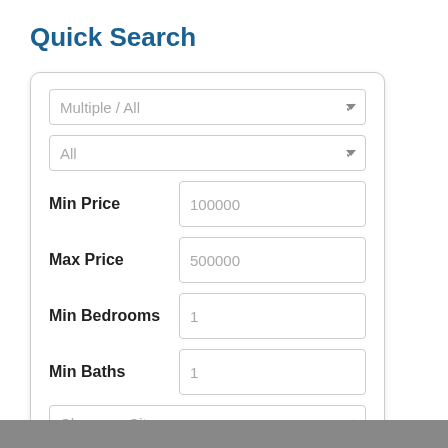Quick Search
[Figure (screenshot): A quick search form with dropdowns for Multiple/All and All, input fields for Min Price (100000), Max Price (500000), Min Bedrooms (1), Min Baths (1), a Choose a City dropdown, and a red Search button.]